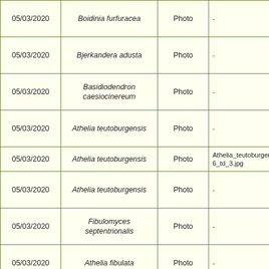| Date | Species | Type | File |
| --- | --- | --- | --- |
| 05/03/2020 | Boidinia furfuracea | Photo | - |
| 05/03/2020 | Bjerkandera adusta | Photo | - |
| 05/03/2020 | Basidiodendron caesiocinereum | Photo | - |
| 05/03/2020 | Athelia teutoburgensis | Photo | - |
| 05/03/2020 | Athelia teutoburgensis | Photo | Athelia_teutoburgensis_2006_td_3.jpg |
| 05/03/2020 | Athelia teutoburgensis | Photo | - |
| 05/03/2020 | Fibulomyces septentrionalis | Photo | - |
| 05/03/2020 | Athelia fibulata | Photo | - |
| 05/03/2020 | Athelia epiphylla | Photo | - |
| 05/03/2020 | Ryvoardtium... | Photo | - |